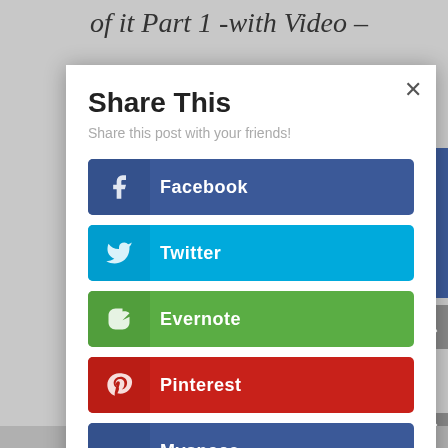of it Part 1 -with Video –
Share This
Share this post with your friends!
Facebook
Twitter
Evernote
Pinterest
Myspace
Blogger